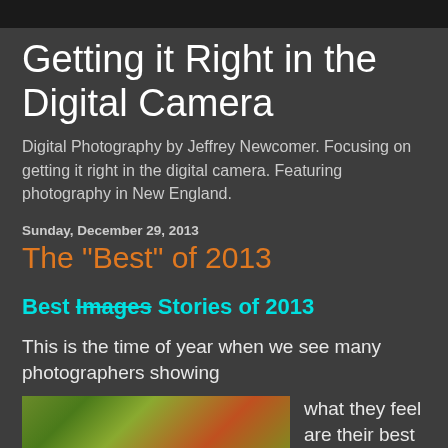Getting it Right in the Digital Camera
Digital Photography by Jeffrey Newcomer. Focusing on getting it right in the digital camera. Featuring photography in New England.
Sunday, December 29, 2013
The "Best" of 2013
Best Images Stories of 2013
This is the time of year when we see many photographers showing
[Figure (photo): Outdoor nature/landscape photo showing colorful foliage with green, yellow, and orange/red tones]
what they feel are their best